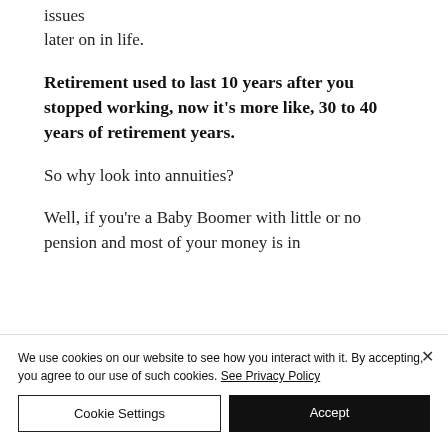issues later on in life.
Retirement used to last 10 years after you stopped working, now it's more like, 30 to 40 years of retirement years.
So why look into annuities?
Well, if you're a Baby Boomer with little or no pension and most of your money is in
We use cookies on our website to see how you interact with it. By accepting, you agree to our use of such cookies. See Privacy Policy
Cookie Settings | Accept